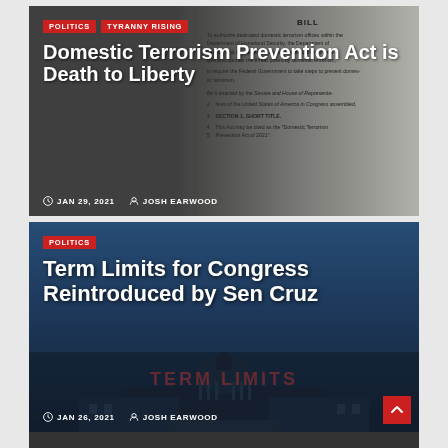[Figure (screenshot): News article card with background showing a legislative bill document. Tags: POLITICS, TYRANNY RISING. Title: Domestic Terrorism Prevention Act is Death to Liberty. Date: JAN 29, 2021. Author: JOSH EARWOOD.]
[Figure (screenshot): News article card with background showing the US Capitol building at night with blue sky and TERM LIMITS text. Tag: POLITICS. Title: Term Limits for Congress Reintroduced by Sen Cruz. Date: JAN 26, 2021. Author: JOSH EARWOOD.]